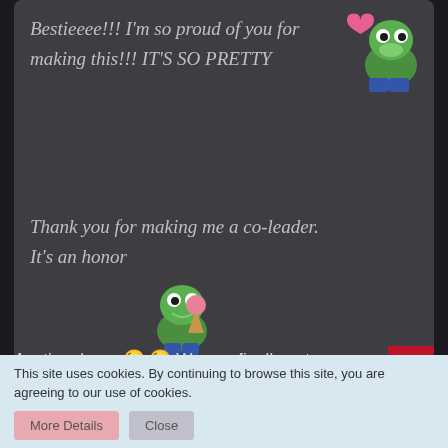[Figure (screenshot): Chat message bubble with italic text: 'Bestieeee!!! I'm so proud of you for making this!!! IT'S SO PRETTY' with a Pepe frog holding a heart emoji sticker]
[Figure (screenshot): Chat message bubble with italic text: 'Thank you for making me a co-leader. It's an honor' with a Pepe frog eating ice cream sticker]
Anytime booo 😘 😘 We can finally put aespa content/ teasers/ comeback/ theories here without getting judged
[Figure (illustration): Pepe frog with champagne glass sticker]
This site uses cookies. By continuing to browse this site, you are agreeing to our use of cookies.
More Details   Close